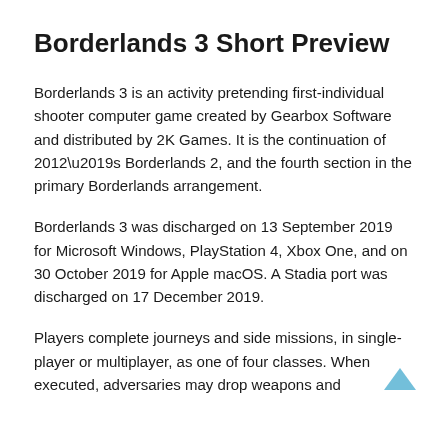Borderlands 3 Short Preview
Borderlands 3 is an activity pretending first-individual shooter computer game created by Gearbox Software and distributed by 2K Games. It is the continuation of 2012’s Borderlands 2, and the fourth section in the primary Borderlands arrangement.
Borderlands 3 was discharged on 13 September 2019 for Microsoft Windows, PlayStation 4, Xbox One, and on 30 October 2019 for Apple macOS. A Stadia port was discharged on 17 December 2019.
Players complete journeys and side missions, in single-player or multiplayer, as one of four classes. When executed, adversaries may drop weapons and